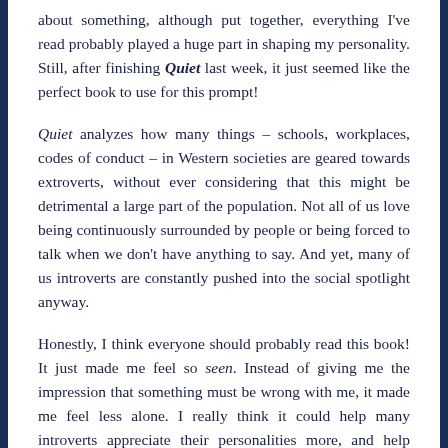about something, although put together, everything I've read probably played a huge part in shaping my personality. Still, after finishing Quiet last week, it just seemed like the perfect book to use for this prompt!
Quiet analyzes how many things – schools, workplaces, codes of conduct – in Western societies are geared towards extroverts, without ever considering that this might be detrimental a large part of the population. Not all of us love being continuously surrounded by people or being forced to talk when we don't have anything to say. And yet, many of us introverts are constantly pushed into the social spotlight anyway.
Honestly, I think everyone should probably read this book! It just made me feel so seen. Instead of giving me the impression that something must be wrong with me, it made me feel less alone. I really think it could help many introverts appreciate their personalities more, and help extroverts understand their